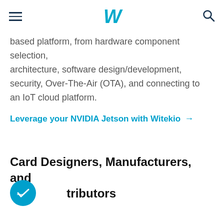W
based platform, from hardware component selection, architecture, software design/development, security, Over-The-Air (OTA), and connecting to an IoT cloud platform.
Leverage your NVIDIA Jetson with Witekio →
Card Designers, Manufacturers, and Distributors